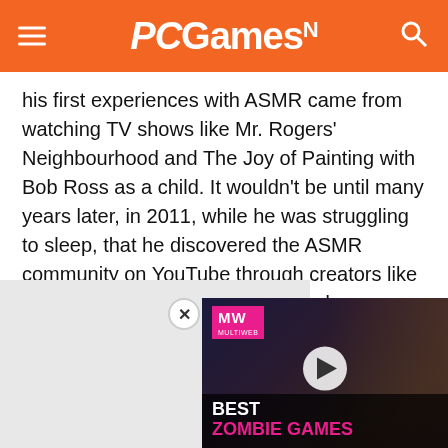PCGamesN
his first experiences with ASMR came from watching TV shows like Mr. Rogers' Neighbourhood and The Joy of Painting with Bob Ross as a child. It wouldn't be until many years later, in 2011, while he was struggling to sleep, that he discovered the ASMR community on YouTube through creators like WhisperCrystal, DonnaASMR, and RelaxingASMR. Seeing his chance to combine his passion for gaming with his appreciation of ASMR, he created his own channel two years later in 2013.
[Figure (screenshot): Video thumbnail overlay with MW branding showing a game character. Title reads BEST ZOMBIE GAMES with a play button in the center. Pink/magenta brand logo in top left.]